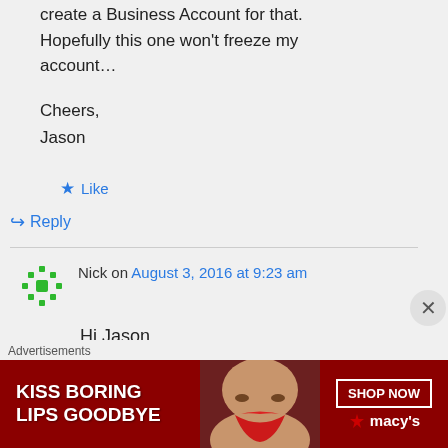create a Business Account for that. Hopefully this one won't freeze my account…
Cheers,
Jason
★ Like
↪ Reply
Nick on August 3, 2016 at 9:23 am
Hi Jason
Advertisements
[Figure (photo): Macy's advertisement banner: 'KISS BORING LIPS GOODBYE' with SHOP NOW button and Macy's logo on dark red background with woman's face]